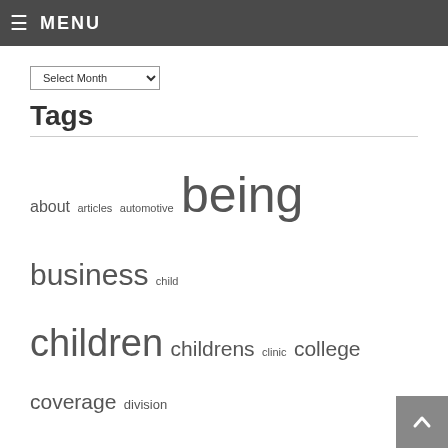MENU
Select Month
Tags
about articles automotive being business child children childrens clinic college coverage division drugs education faculty fitness health healthcare healthy holistic house improvement information institute insurance journal kidshealth kidss leisure little medical medication medicine national online pediatric problems program public security technology travel wholesome youngsters youngsterss